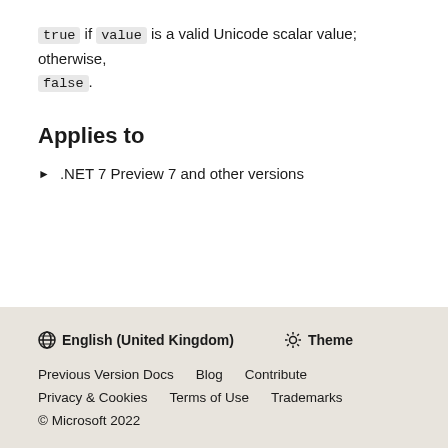true if value is a valid Unicode scalar value; otherwise, false.
Applies to
.NET 7 Preview 7 and other versions
English (United Kingdom)  Theme  Previous Version Docs  Blog  Contribute  Privacy & Cookies  Terms of Use  Trademarks  © Microsoft 2022